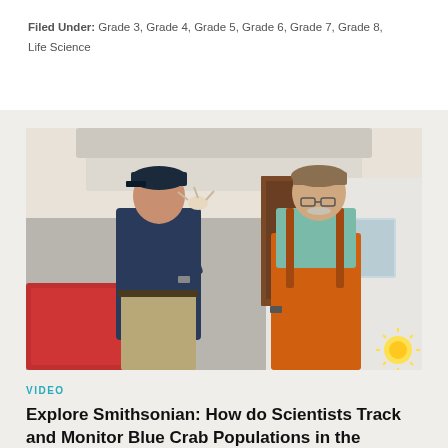Filed Under: Grade 3, Grade 4, Grade 5, Grade 6, Grade 7, Grade 8, Life Science
[Figure (photo): Two men on a boat. The man on the left is wearing a dark navy shirt and a cap, holding up a small crab. The man on the right is wearing a light teal polo shirt and orange fishing overalls with suspenders. Behind them is a white boat cabin. A red bin/container is visible in the lower left. A small sun logo is visible in the lower right corner of the image.]
VIDEO
Explore Smithsonian: How do Scientists Track and Monitor Blue Crab Populations in the Chesapeake Bay?